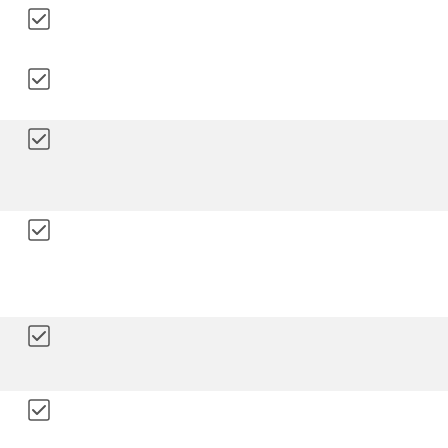☑
☑
☑
☑
☑
☑
Financial Department Services